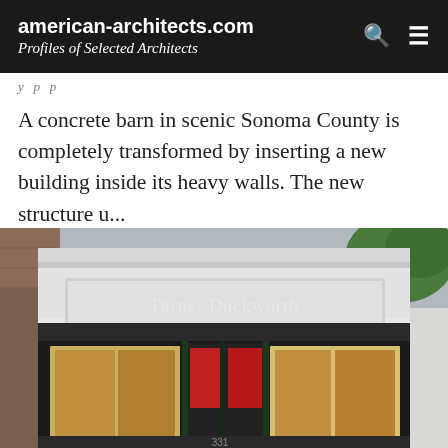american-architects.com
Profiles of Selected Architects
y p p
A concrete barn in scenic Sonoma County is completely transformed by inserting a new building inside its heavy walls. The new structure u...
[Figure (photo): Exterior facade of Turner Duckworth building — a white-painted commercial storefront with signage reading 'Turner Duckworth', large display windows with red interior panels, flanked by brick buildings, with trees visible in background.]